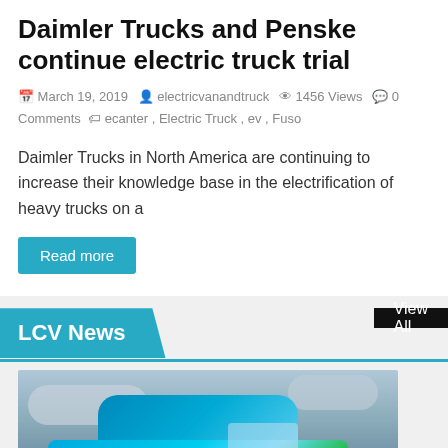Daimler Trucks and Penske continue electric truck trial
March 19, 2019  electricvanandtruck  1456 Views  0 Comments  ecanter, Electric Truck, ev, Fuso
Daimler Trucks in North America are continuing to increase their knowledge base in the electrification of heavy trucks on a
Read more
LCV News
View All
[Figure (photo): A blue and green British Gas van photographed against a cloudy sky]